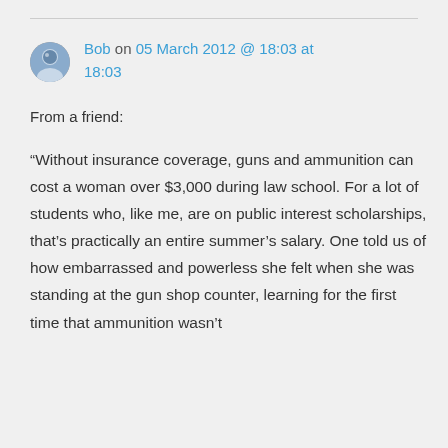[Figure (illustration): Circular avatar/profile picture of a person named Bob]
Bob on 05 March 2012 @ 18:03 at 18:03
From a friend:
“Without insurance coverage, guns and ammunition can cost a woman over $3,000 during law school. For a lot of students who, like me, are on public interest scholarships, that’s practically an entire summer’s salary. One told us of how embarrassed and powerless she felt when she was standing at the gun shop counter, learning for the first time that ammunition wasn’t